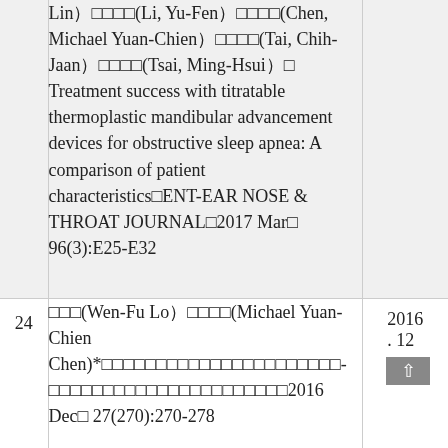| # | Reference | Year |
| --- | --- | --- |
|  | Lin）□□□□(Li, Yu-Fen）□□□□(Chen, Michael Yuan-Chien）□□□□(Tai, Chih-Jaan）□□□□(Tsai, Ming-Hsui）□ Treatment success with titratable thermoplastic mandibular advancement devices for obstructive sleep apnea: A comparison of patient characteristics□ENT-EAR NOSE & THROAT JOURNAL□2017 Mar□ 96(3):E25-E32 |  |
| 24 | □□□(Wen-Fu Lo）□□□□(Michael Yuan-Chien Chen)*□□□□□□□□□□□□□□□□□□□□□□-□□□□□□□□□□□□□□□□□□□□□□2016 Dec□ 27(270):270-278 | 2016 . 12 |